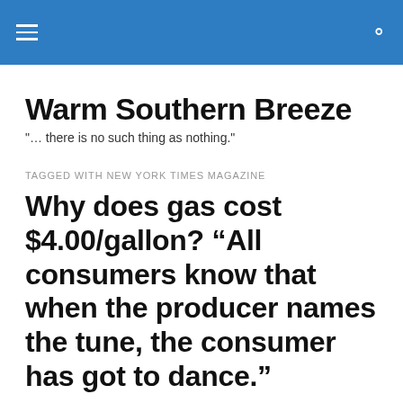Warm Southern Breeze — navigation header
Warm Southern Breeze
"… there is no such thing as nothing."
TAGGED WITH NEW YORK TIMES MAGAZINE
Why does gas cost $4.00/gallon? “All consumers know that when the producer names the tune, the consumer has got to dance.”
Our modern prophet, Gil Scott Heron – a Southern man –